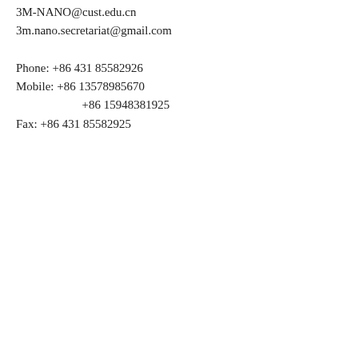3M-NANO@cust.edu.cn
3m.nano.secretariat@gmail.com

Phone: +86 431 85582926
Mobile: +86 13578985670
        +86 15948381925
Fax: +86 431 85582925